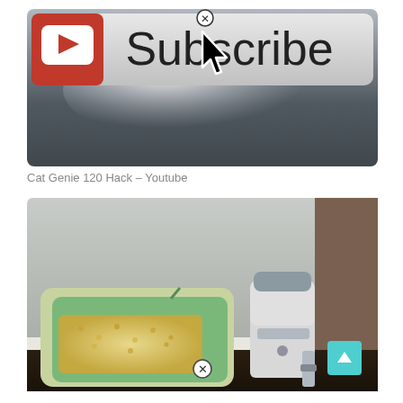[Figure (screenshot): YouTube Subscribe button screenshot with a cursor hovering over it and a close (X) button at the top. The button shows the YouTube red play icon on the left and 'Subscribe' text on the right with a light gray background.]
Cat Genie 120 Hack – Youtube
[Figure (photo): Photo of a Cat Genie 120 automatic litter box with a green litter tray containing granules next to the white Cat Genie unit, placed on a dark floor against a white/gray wall. A teal scroll-to-top button and a close (X) icon are overlaid at the bottom.]